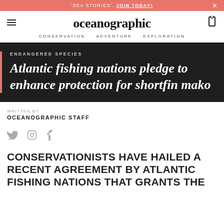'SEA STORIES'. JOIN TODAY!
oceanographic
CONSERVATION  ADVENTURE  EXPLORATION
ENDANGERED SPECIES
Atlantic fishing nations pledge to enhance protection for shortfin mako
WRITTEN BY
OCEANOGRAPHIC STAFF
CONSERVATIONISTS HAVE HAILED A RECENT AGREEMENT BY ATLANTIC FISHING NATIONS THAT GRANTS THE